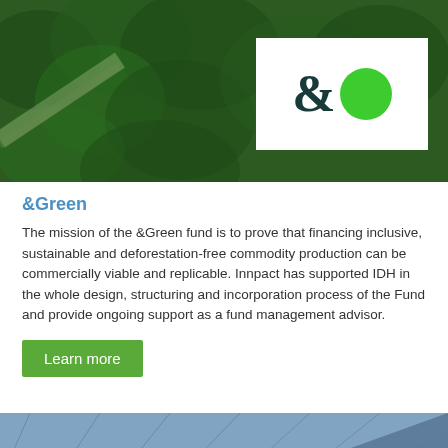[Figure (photo): Aerial view of dense green forest with a road/path visible, with a white box containing the &Green logo (ampersand symbol in dark teal and a large green circle) overlaid on the right side]
&Green
The mission of the &Green fund is to prove that financing inclusive, sustainable and deforestation-free commodity production can be commercially viable and replicable. Innpact has supported IDH in the whole design, structuring and incorporation process of the Fund and provide ongoing support as a fund management advisor.
Learn more
[Figure (photo): Partial view of a blue/grey solar panel surface at an angle]